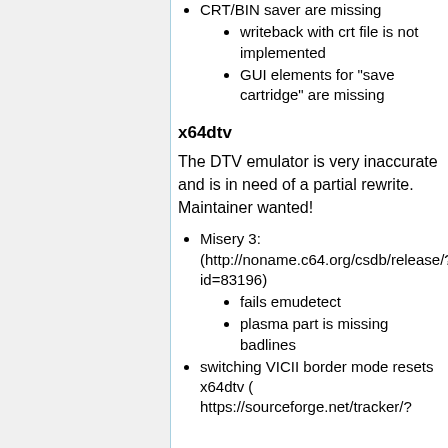CRT/BIN saver are missing
writeback with crt file is not implemented
GUI elements for "save cartridge" are missing
x64dtv
The DTV emulator is very inaccurate and is in need of a partial rewrite. Maintainer wanted!
Misery 3: (http://noname.c64.org/csdb/release/?id=83196)
fails emudetect
plasma part is missing badlines
switching VICII border mode resets x64dtv ( https://sourceforge.net/tracker/?...